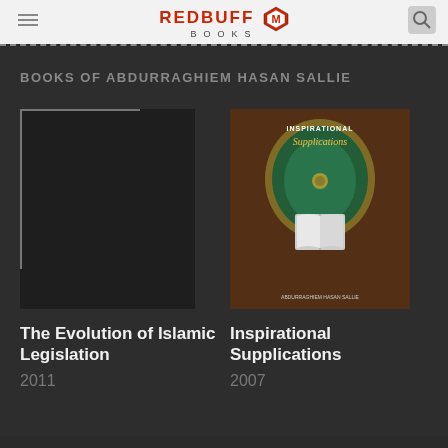REDBUFF BOOKS
BOOKS OF ABDURRAGHIEM HASAN SALLIE
[Figure (illustration): Book cover placeholder with L-shaped border lines for 'The Evolution of Islamic Legislation']
The Evolution of Islamic Legislation
2011
[Figure (photo): Book cover of 'Inspirational Supplications' showing decorative Islamic art with an open Quran]
Inspirational Supplications
2007